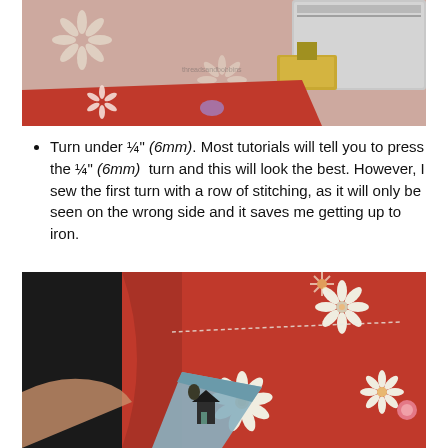[Figure (photo): Close-up photo of fabric being sewn under a sewing machine presser foot. Pink/salmon linen fabric with white flower pattern visible, and red patterned fabric (with flowers and birds) folded underneath the presser foot.]
Turn under ¼" (6mm). Most tutorials will tell you to press the ¼" (6mm) turn and this will look the best. However, I sew the first turn with a row of stitching, as it will only be seen on the wrong side and it saves me getting up to iron.
[Figure (photo): Close-up photo of hands holding red fabric with white floral pattern (flowers with petals and circular centers), showing a folded/turned edge of the fabric being prepared for sewing.]